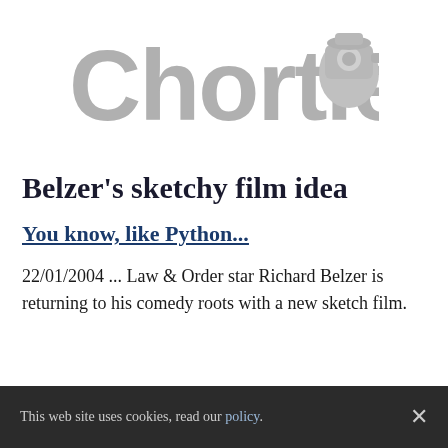[Figure (logo): Chortle logo in grey with a cartoon cameraman/clown figure to the right]
Belzer's sketchy film idea
You know, like Python...
22/01/2004 ... Law & Order star Richard Belzer is returning to his comedy roots with a new sketch film.
This web site uses cookies, read our policy.